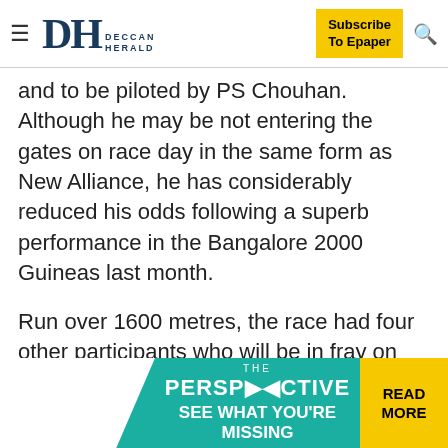DH DECCAN HERALD — Subscribe To Epaper
and to be piloted by PS Chouhan. Although he may be not entering the gates on race day in the same form as New Alliance, he has considerably reduced his odds following a superb performance in the Bangalore 2000 Guineas last month.
Run over 1600 metres, the race had four other participants who will be in fray on Saturday. Running a superb race from start to the finish, he swept himself to a four-and-half length victory, leaving others breathless.
Tough task
However, Brilliant Cut is yet to run 2400 metres competitively and none of his siblings have a great track
[Figure (advertisement): THE PERSPECTIVE advertisement banner with teal background, mirrored text, and yellow READ MORE button]